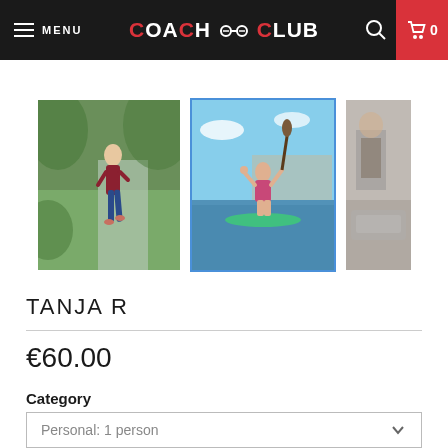MENU | COACH CLUB | Search | Cart 0
[Figure (photo): Thumbnail of woman running on a path surrounded by greenery, wearing blue leggings and red top]
[Figure (photo): Thumbnail of woman paddle boarding on water, holding paddle, wearing pink swimsuit, selected/active]
[Figure (photo): Partial thumbnail of a person in gym/outdoor setting, cropped on right edge]
TANJA R
€60.00
Category
Personal: 1 person